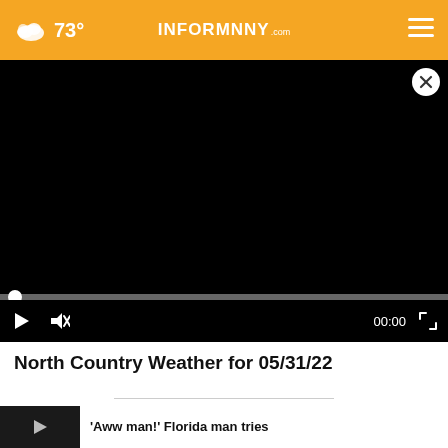73° InformNNY.com
[Figure (screenshot): Black video player with close button, progress bar at 0%, play and mute controls, time display 00:00, and fullscreen button]
North Country Weather for 05/31/22
'Aww man!' Florida man tries